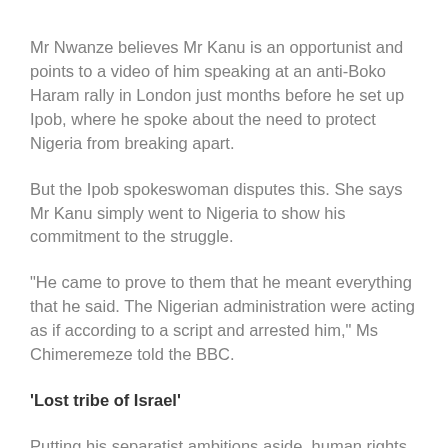Mr Nwanze believes Mr Kanu is an opportunist and points to a video of him speaking at an anti-Boko Haram rally in London just months before he set up Ipob, where he spoke about the need to protect Nigeria from breaking apart.
But the Ipob spokeswoman disputes this. She says Mr Kanu simply went to Nigeria to show his commitment to the struggle.
"He came to prove to them that he meant everything that he said. The Nigerian administration were acting as if according to a script and arrested him," Ms Chimeremeze told the BBC.
'Lost tribe of Israel'
Putting his separatist ambitions aside, human rights groups and some senior politicians have been calling for Mr Kanu's release,